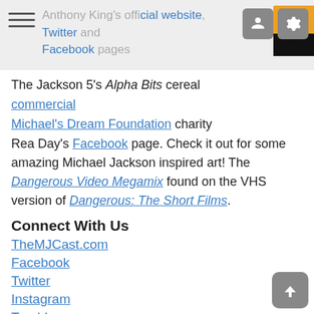Anthony King's official website, Twitter and Facebook pages
The Jackson 5's Alpha Bits cereal commercial
Michael's Dream Foundation charity
Rea Day's Facebook page. Check it out for some amazing Michael Jackson inspired art! The Dangerous Video Megamix found on the VHS version of Dangerous: The Short Films.
Connect With Us
TheMJCast.com
Facebook
Twitter
Instagram
Tumblr.
YouTube
If you have any thoughts, opinions, or feedback on the show, we'd love to hear